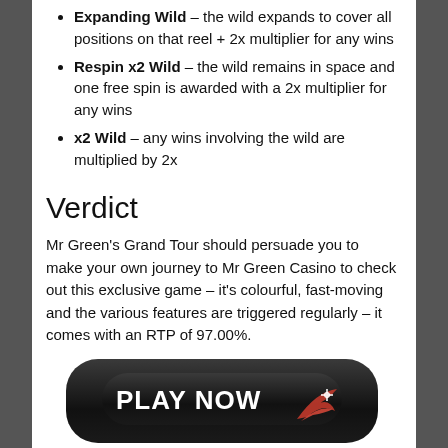Expanding Wild – the wild expands to cover all positions on that reel + 2x multiplier for any wins
Respin x2 Wild – the wild remains in space and one free spin is awarded with a 2x multiplier for any wins
x2 Wild – any wins involving the wild are multiplied by 2x
Verdict
Mr Green's Grand Tour should persuade you to make your own journey to Mr Green Casino to check out this exclusive game – it's colourful, fast-moving and the various features are triggered regularly – it comes with an RTP of 97.00%.
[Figure (other): PLAY NOW button — black rounded rectangle with white bold text and red swoosh graphic]
[Figure (other): Social sharing buttons: Facebook Share (0), Twitter Tweet (0), Email (0), green Share (New), and star rating row (3 full stars, 1 empty star, info icon)]